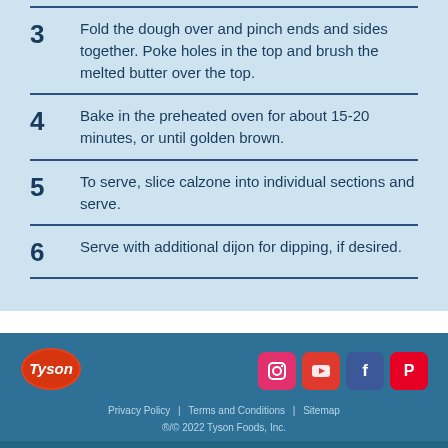3  Fold the dough over and pinch ends and sides together. Poke holes in the top and brush the melted butter over the top.
4  Bake in the preheated oven for about 15-20 minutes, or until golden brown.
5  To serve, slice calzone into individual sections and serve.
6  Serve with additional dijon for dipping, if desired.
[Figure (logo): Tyson logo - red oval with 'Tyson' in white text]
[Figure (infographic): Social media icons: Instagram, YouTube, Facebook, Pinterest]
Privacy Policy | Terms and Conditions | Sitemap
®/© 2022 Tyson Foods, Inc.
≡ MENU